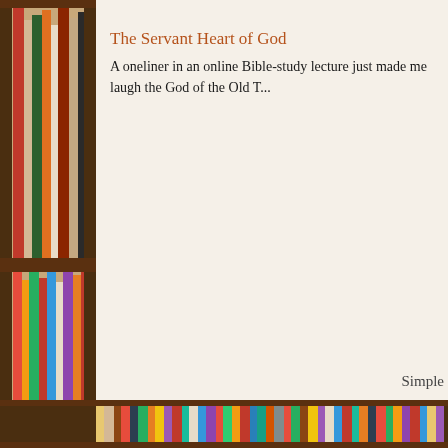[Figure (photo): A tall bookshelf on the left side filled with colorful books of various sizes, and a row of colorful books along the bottom of the page, creating a library/reading theme background.]
The Servant Heart of God
A oneliner in an online Bible-study lecture just made me laugh the God of the Old T...
Simple